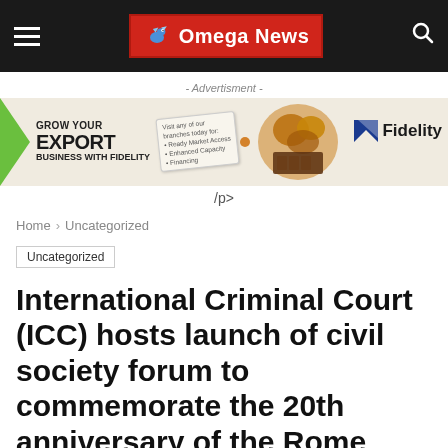Omega News
[Figure (illustration): Fidelity export business advertisement banner with green arrow, text 'GROW YOUR EXPORT BUSINESS WITH FIDELITY', a tag graphic, nuts/chocolate imagery, and Fidelity logo]
- Advertisment -
/p>
Home > Uncategorized
Uncategorized
International Criminal Court (ICC) hosts launch of civil society forum to commemorate the 20th anniversary of the Rome Statute